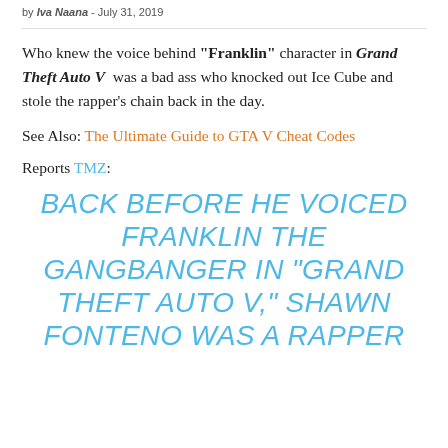by Iva Naana - July 31, 2019
Who knew the voice behind "Franklin" character in Grand Theft Auto V was a bad ass who knocked out Ice Cube and stole the rapper's chain back in the day.
See Also: The Ultimate Guide to GTA V Cheat Codes
Reports TMZ:
BACK BEFORE HE VOICED FRANKLIN THE GANGBANGER IN “GRAND THEFT AUTO V,” SHAWN FONTENO WAS A RAPPER